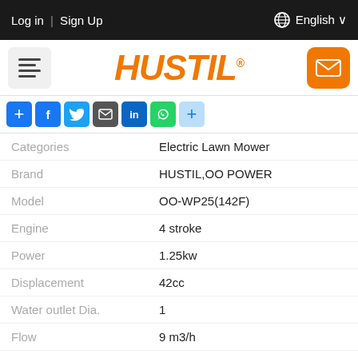Log in | Sign Up   English
[Figure (logo): HUSTIL logo in orange italic bold font with registered trademark symbol]
[Figure (infographic): Social share buttons: +, Facebook, Twitter, Email, LinkedIn, WhatsApp, more]
| Property | Value |
| --- | --- |
| Categories | Electric Lawn Mower |
| Brand | HUSTIL,OO POWER |
| Model | OO-WP25(142F) |
| Engine | 4 stroke |
| Power | 1.25kw |
| Displacement | 42cc |
| Water outlet Dia. | 1 |
| Flow | 9 m3/h |
| Suction length | 8m |
| Lift | 30m |